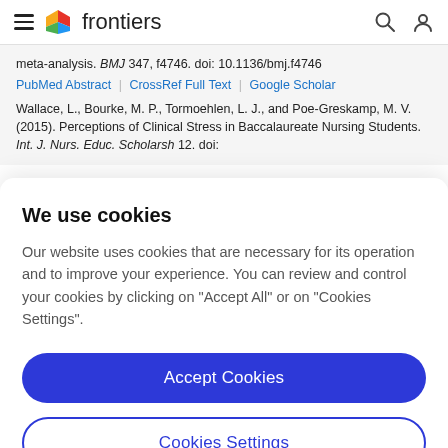frontiers
meta-analysis. BMJ 347, f4746. doi: 10.1136/bmj.f4746
PubMed Abstract | CrossRef Full Text | Google Scholar
Wallace, L., Bourke, M. P., Tormoehlen, L. J., and Poe-Greskamp, M. V. (2015). Perceptions of Clinical Stress in Baccalaureate Nursing Students. Int. J. Nurs. Educ. Scholarsh 12. doi:
We use cookies
Our website uses cookies that are necessary for its operation and to improve your experience. You can review and control your cookies by clicking on "Accept All" or on "Cookies Settings".
Accept Cookies
Cookies Settings